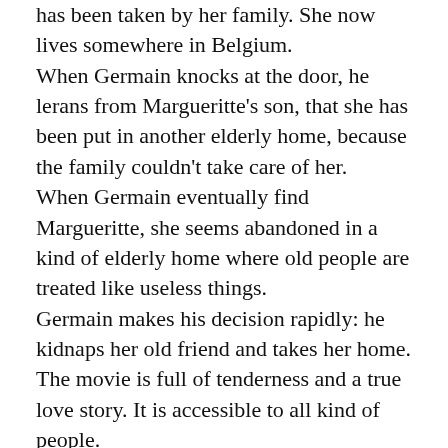has been taken by her family. She now lives somewhere in Belgium. When Germain knocks at the door, he lerans from Margueritte's son, that she has been put in another elderly home, because the family couldn't take care of her. When Germain eventually find Margueritte, she seems abandoned in a kind of elderly home where old people are treated like useless things. Germain makes his decision rapidly: he kidnaps her old friend and takes her home. The movie is full of tenderness and a true love story. It is accessible to all kind of people. Fluent French is required, though. A must see...I loved it and I recoomend it to anybody;)